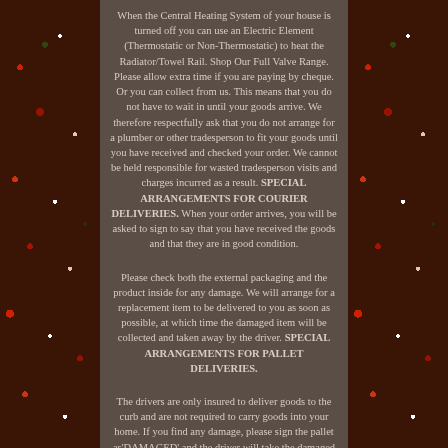When the Central Heating System of your house is turned off you can use an Electric Element (Thermostatic or Non-Thermostatic) to heat the Radiator/Towel Rail. Shop Our Full Valve Range. Please allow extra time if you are paying by cheque. Or you can collect from us. This means that you do not have to wait in until your goods arrive. We therefore respectfully ask that you do not arrange for a plumber or other tradesperson to fit your goods until you have received and checked your order. We cannot be held responsible for wasted tradesperson visits and charges incurred as a result. SPECIAL ARRANGEMENTS FOR COURIER DELIVERIES. When your order arrives, you will be asked to sign to say that you have received the goods and that they are in good condition.
Please check both the external packaging and the product inside for any damage. We will arrange for a replacement item to be delivered to you as soon as possible, at which time the damaged item will be collected and taken away by the driver. SPECIAL ARRANGEMENTS FOR PALLET DELIVERIES.
The drivers are only insured to deliver goods to the curb and are not required to carry goods into your home. If you find any damage, please sign the pallet as'DAMAGED' and the driver will take the damaged pallet away. If you are having multiple items delivered and only some are